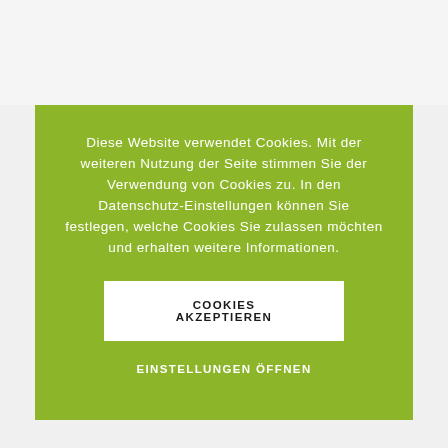Diese Website verwendet Cookies. Mit der weiteren Nutzung der Seite stimmen Sie der Verwendung von Cookies zu. In den Datenschutz-Einstellungen können Sie festlegen, welche Cookies Sie zulassen möchten und erhalten weitere Informationen.
COOKIES AKZEPTIEREN
EINSTELLUNGEN ÖFFNEN